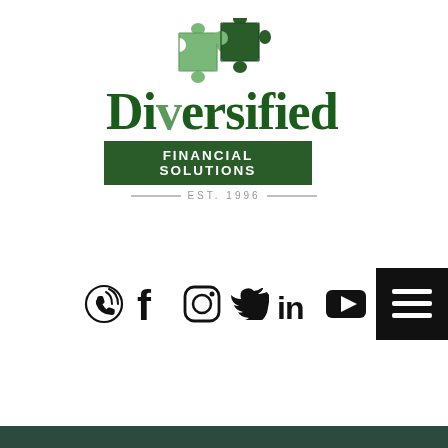[Figure (logo): Diversified Financial Solutions logo with puzzle piece graphic, company name, and EST 1996 tagline]
[Figure (infographic): Social media icons row: phone, Facebook, Instagram, Twitter, LinkedIn, YouTube, and menu/hamburger icon button]
[Figure (other): Dark green footer bar at bottom of page]